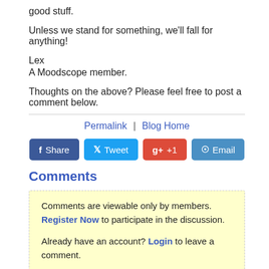good stuff.
Unless we stand for something, we'll fall for anything!
Lex
A Moodscope member.
Thoughts on the above? Please feel free to post a comment below.
Permalink  |  Blog Home
[Figure (other): Social sharing buttons: Share (Facebook, dark blue), Tweet (Twitter, light blue), +1 (Google+, red), Email (blue)]
Comments
Comments are viewable only by members. Register Now to participate in the discussion.

Already have an account? Login to leave a comment.

There are 67 comments so far.